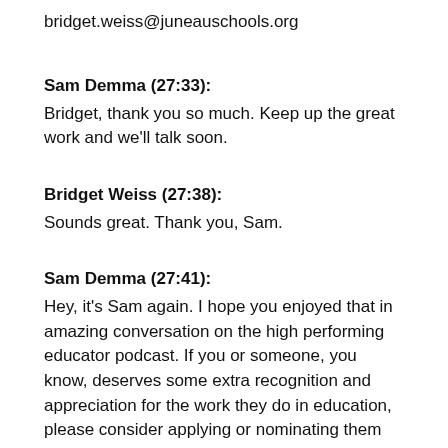bridget.weiss@juneauschools.org
Sam Demma (27:33):
Bridget, thank you so much. Keep up the great work and we'll talk soon.
Bridget Weiss (27:38):
Sounds great. Thank you, Sam.
Sam Demma (27:41):
Hey, it's Sam again. I hope you enjoyed that in amazing conversation on the high performing educator podcast. If you or someone, you know, deserves some extra recognition and appreciation for the work they do in education, please consider applying or nominating them for the high performing educator awards, go to www.highperformingeducator.com/award. You can also